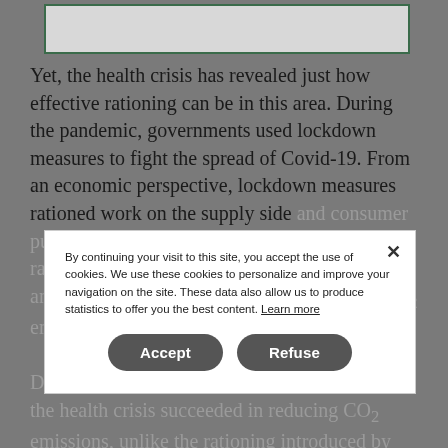[Figure (other): A rectangular image/media placeholder box with a dark green border at the top of the page.]
Yet, the health crisis has revealed just how effective rationing can be in this area. During the pandemic, governments used lockdown measures to fight the spread of Covid-19. From an economic perspective, lockdown measures rationed work on the supply side and consumer purchases on the demand side. This double rationing brought the economy to a standstill and resulted in an unprecedented decline in CO2 emissions.
Does this mean that the rationing imposed by the health crisis succeeded in reducing CO2 emissions, unlike the rationing introduced by the carbon market for this very purpose?
By continuing your visit to this site, you accept the use of cookies. We use these cookies to personalize and improve your navigation on the site. These data also allow us to produce statistics to offer you the best content. Learn more